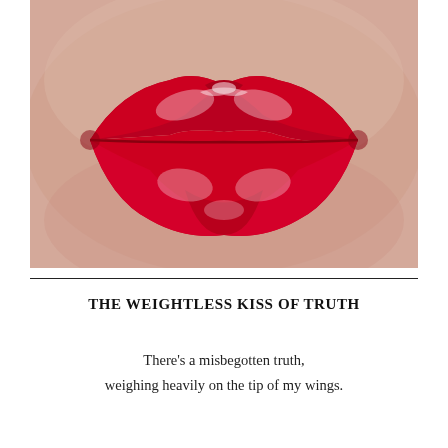[Figure (photo): Close-up photograph of glossy red lips with shiny red lipstick, puckered in a kissy pose, against a warm beige/pink skin background.]
THE WEIGHTLESS KISS OF TRUTH
There's a misbegotten truth,
weighing heavily on the tip of my wings.